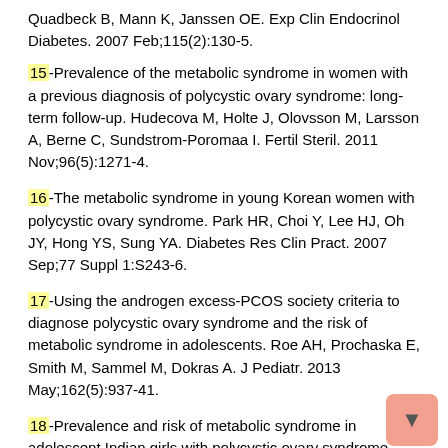Quadbeck B, Mann K, Janssen OE. Exp Clin Endocrinol Diabetes. 2007 Feb;115(2):130-5.
15-Prevalence of the metabolic syndrome in women with a previous diagnosis of polycystic ovary syndrome: long-term follow-up. Hudecova M, Holte J, Olovsson M, Larsson A, Berne C, Sundstrom-Poromaa I. Fertil Steril. 2011 Nov;96(5):1271-4.
16-The metabolic syndrome in young Korean women with polycystic ovary syndrome. Park HR, Choi Y, Lee HJ, Oh JY, Hong YS, Sung YA. Diabetes Res Clin Pract. 2007 Sep;77 Suppl 1:S243-6.
17-Using the androgen excess-PCOS society criteria to diagnose polycystic ovary syndrome and the risk of metabolic syndrome in adolescents. Roe AH, Prochaska E, Smith M, Sammel M, Dokras A. J Pediatr. 2013 May;162(5):937-41.
18-Prevalence and risk of metabolic syndrome in adolescent Indian girls with polycystic ovary syndrome using the 2009 'joint interim criteria'. Bhattacharya SM, Jha A. J Obstet Gynaecol Res. 2011 Oct; 37(10): 1303-7.